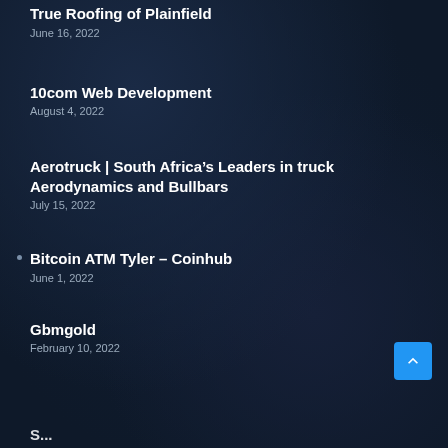True Roofing of Plainfield
June 16, 2022
10com Web Development
August 4, 2022
Aerotruck | South Africa's Leaders in truck Aerodynamics and Bullbars
July 15, 2022
Bitcoin ATM Tyler – Coinhub
June 1, 2022
Gbmgold
February 10, 2022
S...